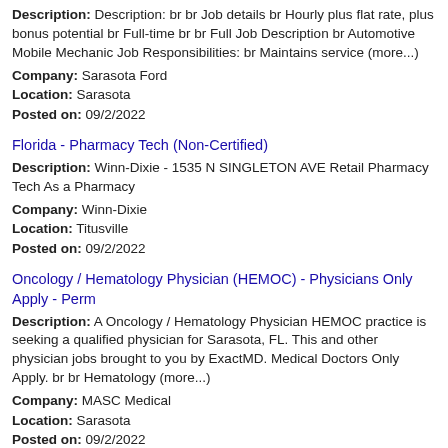Description: Description: br br Job details br Hourly plus flat rate, plus bonus potential br Full-time br br Full Job Description br Automotive Mobile Mechanic Job Responsibilities: br Maintains service (more...)
Company: Sarasota Ford
Location: Sarasota
Posted on: 09/2/2022
Florida - Pharmacy Tech (Non-Certified)
Description: Winn-Dixie - 1535 N SINGLETON AVE Retail Pharmacy Tech As a Pharmacy
Company: Winn-Dixie
Location: Titusville
Posted on: 09/2/2022
Oncology / Hematology Physician (HEMOC) - Physicians Only Apply - Perm
Description: A Oncology / Hematology Physician HEMOC practice is seeking a qualified physician for Sarasota, FL. This and other physician jobs brought to you by ExactMD. Medical Doctors Only Apply. br br Hematology (more...)
Company: MASC Medical
Location: Sarasota
Posted on: 09/2/2022